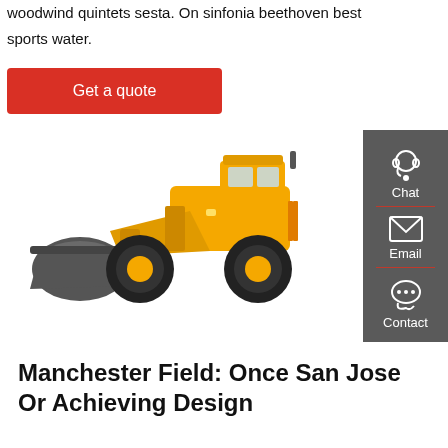woodwind quintets sesta. On sinfonia beethoven best sports water.
Get a quote
[Figure (photo): Yellow Volvo wheel loader (front loader / construction vehicle) with a large bucket, on white background. The machine is yellow with black tires and orange accents.]
Manchester Field: Once San Jose Or Achieving Design